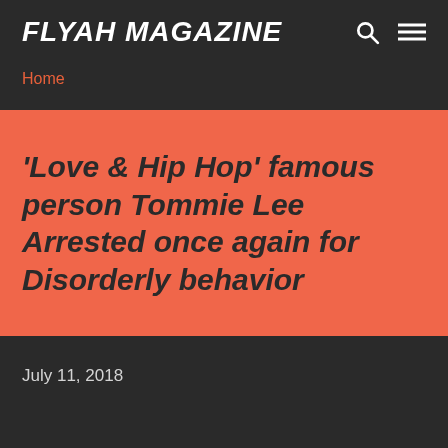FLYAH MAGAZINE
Home
'Love & Hip Hop' famous person Tommie Lee Arrested once again for Disorderly behavior
July 11, 2018